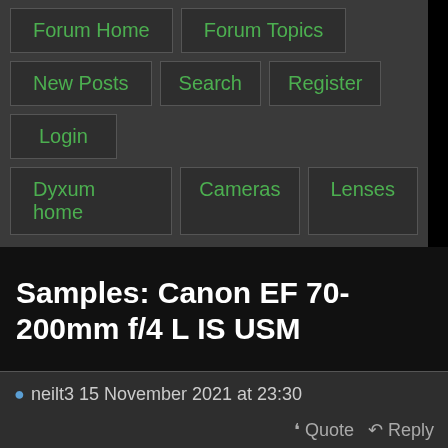Forum Home | Forum Topics | New Posts | Search | Register | Login | Dyxum home | Cameras | Lenses
Samples: Canon EF 70-200mm f/4 L IS USM
neilt3 15 November 2021 at 23:30
Quote  Reply
Samples: Canon EF 70-200mm f/4 L IS